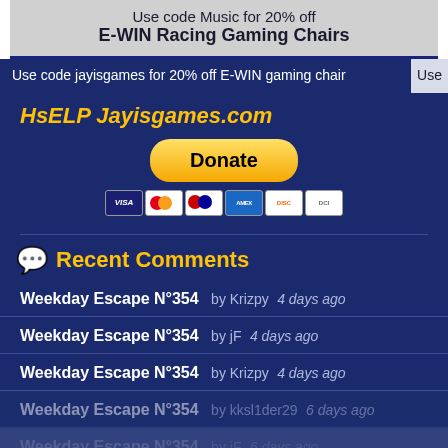[Figure (screenshot): Top banner advertisement: 'Use code Music for 20% off E-WIN Racing Gaming Chairs']
Use code jayisgames for 20% off E-WIN gaming chair
HsELP Jayisgames.com
[Figure (other): PayPal Donate button with credit card icons (Visa, Mastercard, Maestro, Amex, Discover, Diners Club)]
Recent Comments
Weekday Escape N°354  by Krizpy  4 days ago
Weekday Escape N°354  by jF  4 days ago
Weekday Escape N°354  by Krizpy  4 days ago
Weekday Escape N°354  by kksl1der29  6 days ago
Weekday Escape N°354  by jF  6 days ago